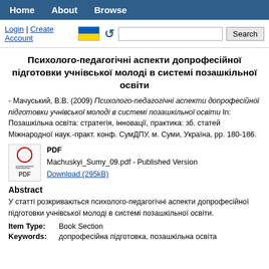Home   About   Browse
Психолого-педагогічні аспекти допрофесійної підготовки учнівської молоді в системі позашкільної освіти
- Мачуський, В.В. (2009) Психолого-педагогічні аспекти допрофесійної підготовки учнівської молоді в системі позашкільної освіти In: Позашкільна освіта: стратегія, інновації, практика: зб. статей Міжнародної наук.-практ. конф. СумДПУ, м. Суми, Україна, pp. 180-186.
[Figure (other): PDF file icon with red circle and 'PDF' text label]
PDF
Machuskyi_Sumy_09.pdf - Published Version
Download (295kB)
Abstract
У статті розкриваються психолого-педагогічні аспекти допрофесійної підготовки учнівської молоді в системі позашкільної освіти.
Item Type:   Book Section
Keywords:   допрофесійна підготовка, позашкільна освіта